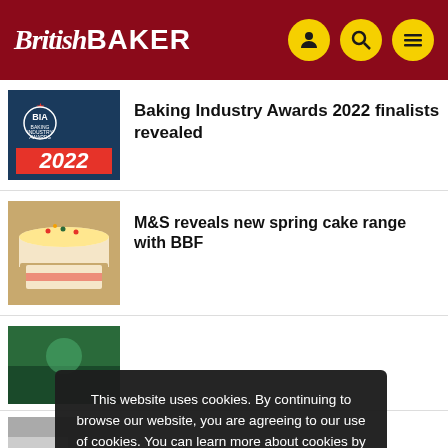BritishBAKER
Baking Industry Awards 2022 finalists revealed
M&S reveals new spring cake range with BBF
This website uses cookies. By continuing to browse our website, you are agreeing to our use of cookies. You can learn more about cookies by visiting our privacy & cookies policy page.